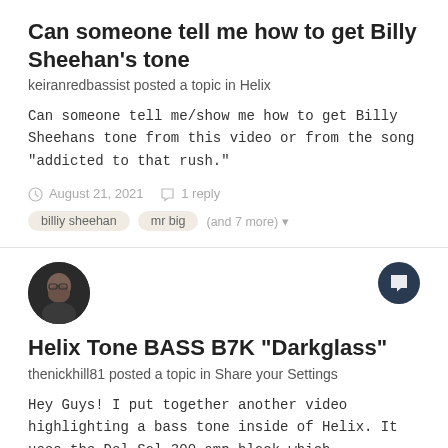Can someone tell me how to get Billy Sheehan's tone
keiranredbassist posted a topic in Helix
Can someone tell me/show me how to get Billy Sheehans tone from this video or from the song "addicted to that rush."
August 21, 2021  1 reply
billiy sheehan  mr big  (and 7 more)
[Figure (photo): Circular avatar photo of a bearded man with glasses]
Helix Tone BASS B7K "Darkglass"
thenickhill81 posted a topic in Share your Settings
Hey Guys! I put together another video highlighting a bass tone inside of Helix. It uses the Del Sol 300 amp block which
January 22, 2018  2 replies
bass  tone  (and 4 more)